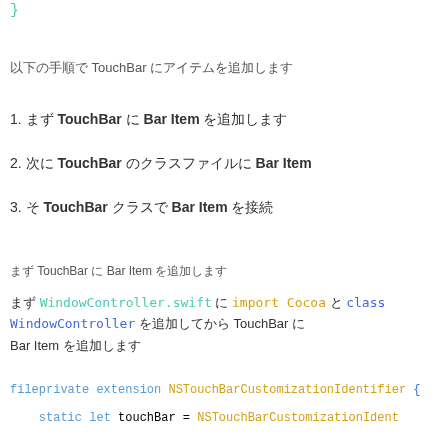}
以下の手順で TouchBar にアイテムを追加します
1. まず TouchBar に Bar Item を追加します
2. 次に TouchBar のクラスファイルに Bar Item
3. そ TouchBar クラスで Bar Item を接続
まず TouchBar に Bar Item を追加します
まず WindowController.swift に import Cocoa と class WindowController を追加してから TouchBar に Bar Item を追加します
fileprivate extension NSTouchBarCustomizationIdentifier {
static let touchBar = NSTouchBarCustomizationIdent